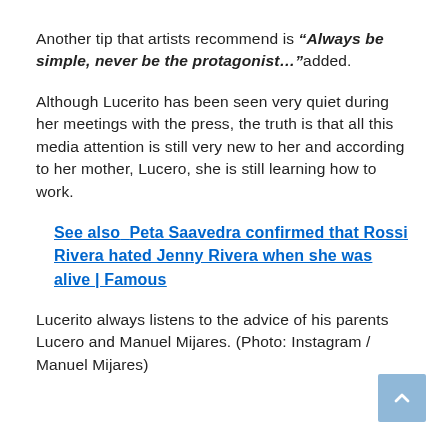Another tip that artists recommend is “Always be simple, never be the protagonist…” added.
Although Lucerito has been seen very quiet during her meetings with the press, the truth is that all this media attention is still very new to her and according to her mother, Lucero, she is still learning how to work.
See also  Peta Saavedra confirmed that Rossi Rivera hated Jenny Rivera when she was alive | Famous
Lucerito always listens to the advice of his parents Lucero and Manuel Mijares. (Photo: Instagram / Manuel Mijares)